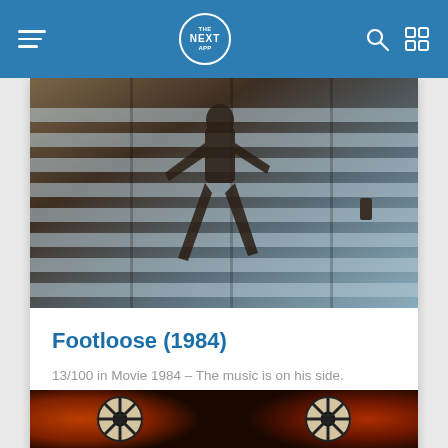THE NEXT APP
[Figure (photo): Movie still from Footloose (1984) showing a person dancing in silhouette against venetian blinds]
Footloose (1984)
13/100 in Movie 1984 - The music is on his side.
DRAMA MOVIE
6
[Figure (photo): Movie still showing colorful masks or carnival costumes with wheel-like patterns]